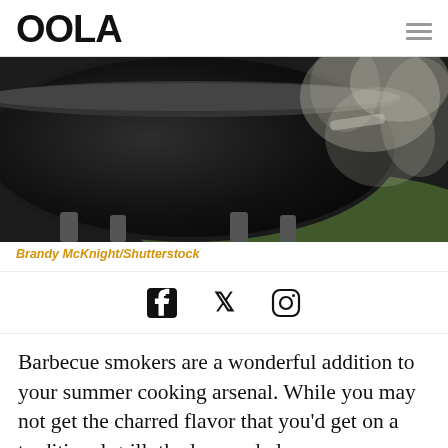OOLA
[Figure (photo): Close-up photo of a round black kettle barbecue smoker grill with smoke billowing out from the right side, against a green background]
Brandy McKnight/Shutterstock
[Figure (infographic): Social media icons: Facebook, Twitter, Instagram]
Barbecue smokers are a wonderful addition to your summer cooking arsenal. While you may not get the charred flavor that you'd get on a traditional grill, the low-and-slow